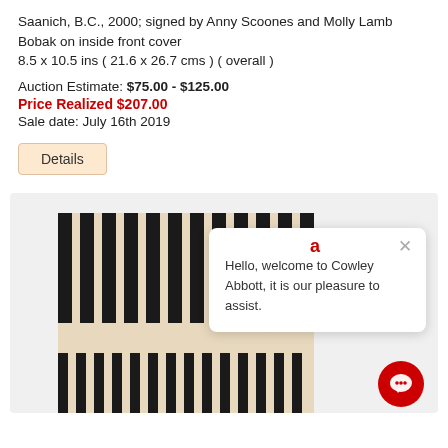Saanich, B.C., 2000; signed by Anny Scoones and Molly Lamb Bobak on inside front cover
8.5 x 10.5 ins ( 21.6 x 26.7 cms ) ( overall )
Auction Estimate: $75.00 - $125.00
Price Realized $207.00
Sale date: July 16th 2019
Details
[Figure (photo): Vasarely artwork book cover with black and cream vertical stripe pattern and the word VASARELY in large block letters, overlaid with a chat popup from Cowley Abbott saying 'Hello, welcome to Cowley Abbott, it is our pleasure to assist.']